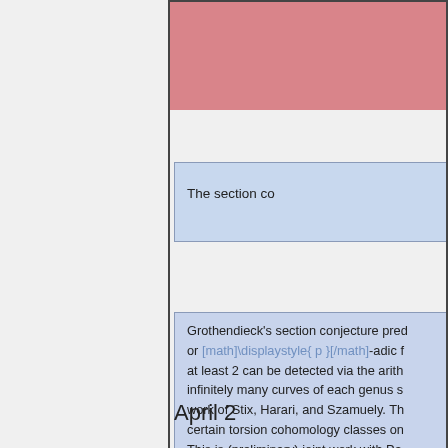[Figure (other): Pink/red colored header block at top of content area]
The section co
Grothendieck's section conjecture pred or [math]\displaystyle{ p }[/math]-adic f at least 2 can be detected via the arith infinitely many curves of each genus s work of Stix, Harari, and Szamuely. Th certain torsion cohomology classes on This is (preliminary) joint work with Pa
April 2